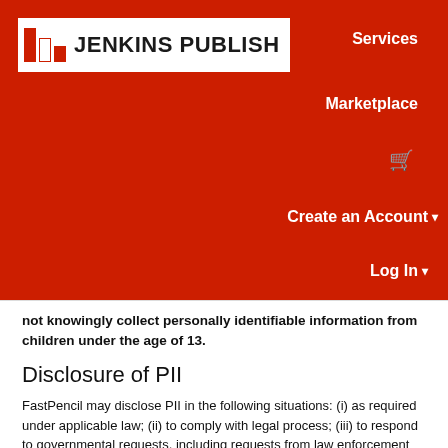[Figure (logo): Jenkins Publish logo with red bar icon and bold text on white background, set against red navigation header]
Services
Marketplace
🛒
Create an Account ▾
Log In ▾
not knowingly collect personally identifiable information from children under the age of 13.
Disclosure of PII
FastPencil may disclose PII in the following situations: (i) as required under applicable law; (ii) to comply with legal process; (iii) to respond to governmental requests, including requests from law enforcement and regulatory authorities;